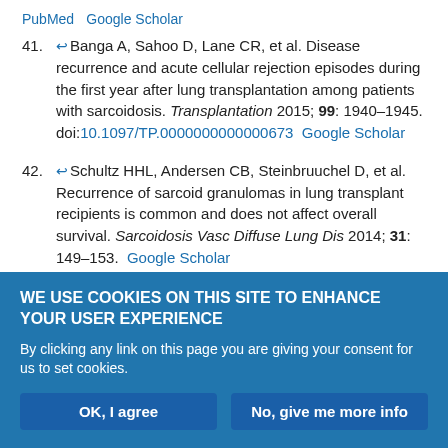PubMed   Google Scholar
41. Banga A, Sahoo D, Lane CR, et al. Disease recurrence and acute cellular rejection episodes during the first year after lung transplantation among patients with sarcoidosis. Transplantation 2015; 99: 1940–1945. doi:10.1097/TP.0000000000000673  Google Scholar
42. Schultz HHL, Andersen CB, Steinbruuchel D, et al. Recurrence of sarcoid granulomas in lung transplant recipients is common and does not affect overall survival. Sarcoidosis Vasc Diffuse Lung Dis 2014; 31: 149–153.  Google Scholar
43. Bjørtuft O, Foerster A, Boe J, et al. Single lung transplantation as treatment for end-stage pulmonary sarcoidosis: recurrence of sarcoidosis in two different lung allografts in one patient. J Heart Lung Transplant
WE USE COOKIES ON THIS SITE TO ENHANCE YOUR USER EXPERIENCE
By clicking any link on this page you are giving your consent for us to set cookies.